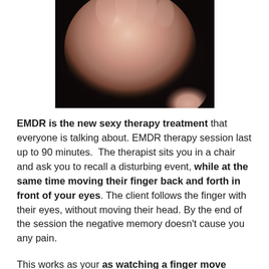[Figure (photo): Close-up photograph of an open human hand/palm against a dark background, showing fingers slightly spread]
EMDR is the new sexy therapy treatment that everyone is talking about. EMDR therapy session last up to 90 minutes. The therapist sits you in a chair and ask you to recall a disturbing event, while at the same time moving their finger back and forth in front of your eyes. The client follows the finger with their eyes, without moving their head. By the end of the session the negative memory doesn't cause you any pain.
This works as your as watching a finger move across your eye-line while thinking of the past negative